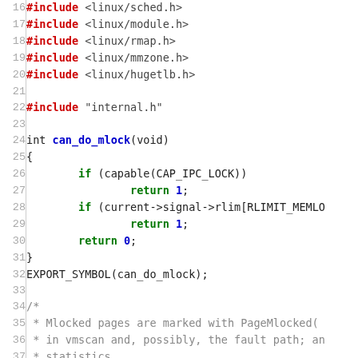Source code listing lines 16-42, C code for mlock functionality